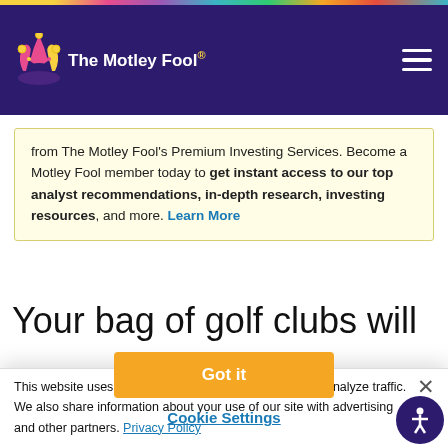The Motley Fool
from The Motley Fool's Premium Investing Services. Become a Motley Fool member today to get instant access to our top analyst recommendations, in-depth research, investing resources, and more. Learn More
Your bag of golf clubs will
This website uses cookies to deliver our services and to analyze traffic. We also share information about your use of our site with advertising and other partners. Privacy Policy
Got it
Cookie Settings